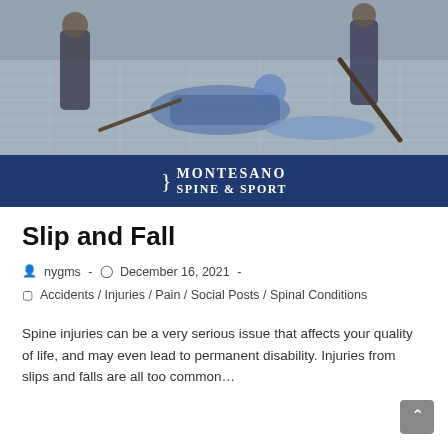[Figure (photo): Photo of a person who has fallen on a tiled outdoor surface being helped by bystanders, with a cane on the ground nearby.]
[Figure (logo): Montesano Spine & Sport logo on dark navy blue background with decorative brace symbol.]
Slip and Fall
nygms  -  December 16, 2021  -
Accidents / Injuries / Pain / Social Posts / Spinal Conditions
Spine injuries can be a very serious issue that affects your quality of life, and may even lead to permanent disability. Injuries from slips and falls are all too common…